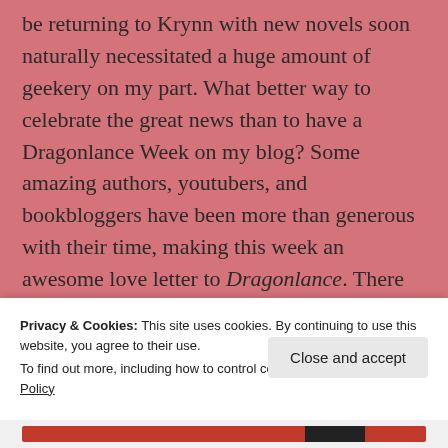be returning to Krynn with new novels soon naturally necessitated a huge amount of geekery on my part. What better way to celebrate the great news than to have a Dragonlance Week on my blog? Some amazing authors, youtubers, and bookbloggers have been more than generous with their time, making this week an awesome love letter to Dragonlance. There are opinion pieces, character profiles, giveaways, a Dragonlance roleplaying session, and an interview with author Margaret Weis
Privacy & Cookies: This site uses cookies. By continuing to use this website, you agree to their use.
To find out more, including how to control cookies, see here: Cookie Policy
Close and accept